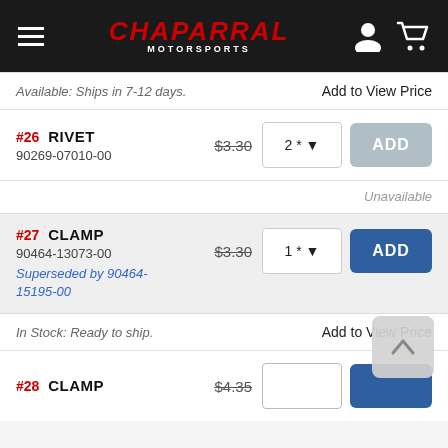Chaparral Motorsports
Available: Ships in 7-12 days.   Add to View Price
#26 RIVET  $3.30  2*  ADD
90269-07010-00
Unavailable
#27 CLAMP  $3.30  1*  ADD
90464-13073-00
Superseded by 90464-15195-00
In Stock: Ready to ship.   Add to View Price
#28 CLAMP  $4.35